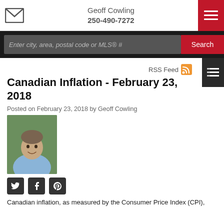Geoff Cowling
250-490-7272
Enter city, area, postal code or MLS® #
Search
RSS Feed
Canadian Inflation - February 23, 2018
Posted on February 23, 2018 by Geoff Cowling
[Figure (photo): Headshot photo of Geoff Cowling, a middle-aged man in a light blue shirt, smiling, with greenery in background]
Canadian inflation, as measured by the Consumer Price Index (CPI),